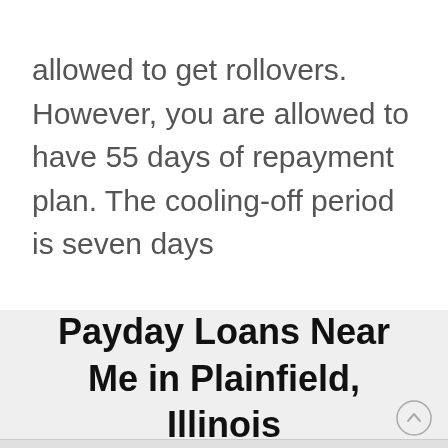allowed to get rollovers. However, you are allowed to have 55 days of repayment plan. The cooling-off period is seven days
Payday Loans Near Me in Plainfield, Illinois